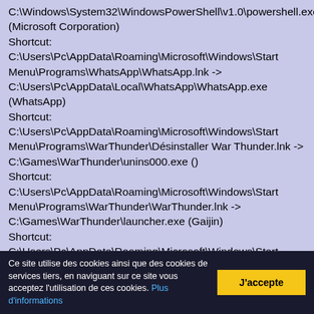C:\Windows\System32\WindowsPowerShell\v1.0\powershell.exe (Microsoft Corporation)
Shortcut: C:\Users\Pc\AppData\Roaming\Microsoft\Windows\Start Menu\Programs\WhatsApp\WhatsApp.lnk -> C:\Users\Pc\AppData\Local\WhatsApp\WhatsApp.exe (WhatsApp)
Shortcut: C:\Users\Pc\AppData\Roaming\Microsoft\Windows\Start Menu\Programs\WarThunder\Désinstaller War Thunder.lnk -> C:\Games\WarThunder\unins000.exe ()
Shortcut: C:\Users\Pc\AppData\Roaming\Microsoft\Windows\Start Menu\Programs\WarThunder\WarThunder.lnk -> C:\Games\WarThunder\launcher.exe (Gaijin)
Shortcut: C:\Users\Pc\AppData\Roaming\Microsoft\Windows\Start Menu\Programs\Wargaming.net\Wargaming.net Game Center.lnk -> C:\Games\Wargaming.net\GameCenter\wgc.exe (Wargaming.net)
Ce site utilise des cookies ainsi que des cookies de services tiers, en naviguant sur ce site vous acceptez l'utilisation de ces cookies. Plus d'informations